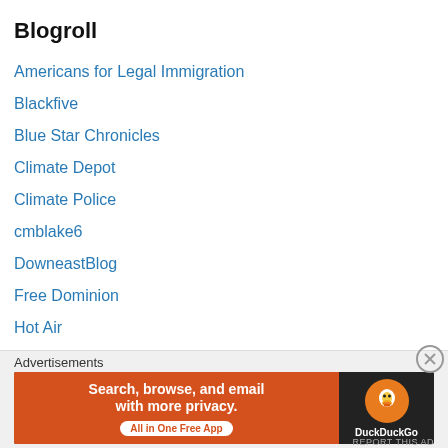Blogroll
Americans for Legal Immigration
Blackfive
Blue Star Chronicles
Climate Depot
Climate Police
cmblake6
DowneastBlog
Free Dominion
Hot Air
Last Refuge of a Scoundrel
Letters of Thought
Maggie's Farm
Mark Levin Show
News Busters
Advertisements
[Figure (screenshot): DuckDuckGo advertisement banner: 'Search, browse, and email with more privacy. All in One Free App' with DuckDuckGo logo on dark background]